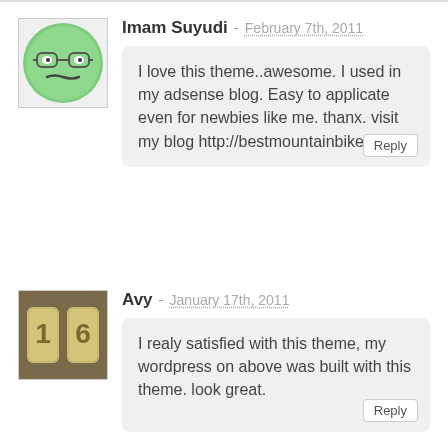[Figure (illustration): Green emoji-style avatar with glasses, for user Imam Suyudi]
Imam Suyudi - February 7th, 2011
I love this theme..awesome. I used in my adsense blog. Easy to applicate even for newbies like me. thanx. visit my blog http://bestmountainbike.biz.
[Figure (photo): Small photo avatar for user Avy showing number tiles]
Avy - January 17th, 2011
I realy satisfied with this theme, my wordpress on above was built with this theme. look great.